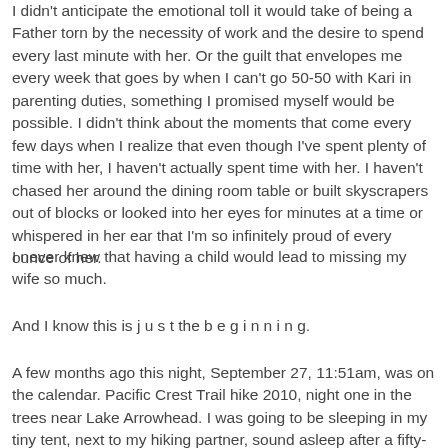I didn't anticipate the emotional toll it would take of being a Father torn by the necessity of work and the desire to spend every last minute with her. Or the guilt that envelopes me every week that goes by when I can't go 50-50 with Kari in parenting duties, something I promised myself would be possible. I didn't think about the moments that come every few days when I realize that even though I've spent plenty of time with her, I haven't actually spent time with her. I haven't chased her around the dining room table or built skyscrapers out of blocks or looked into her eyes for minutes at a time or whispered in her ear that I'm so infinitely proud of every ounce of her.
I never knew that having a child would lead to missing my wife so much.
And I know this is j u s t the b e g i n n i n g.
A few months ago this night, September 27, 11:51am, was on the calendar. Pacific Crest Trail hike 2010, night one in the trees near Lake Arrowhead. I was going to be sleeping in my tiny tent, next to my hiking partner, sound asleep after a fifty-mile hike through the San Gabriel mountains in the ...